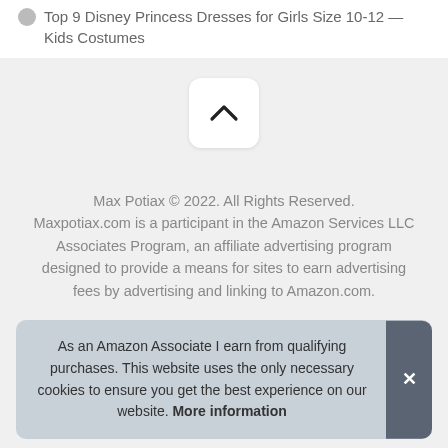Top 9 Disney Princess Dresses for Girls Size 10-12 — Kids Costumes
[Figure (other): Back-to-top button (chevron up arrow) on a white rounded rectangle background, on a gray section]
Max Potiax © 2022. All Rights Reserved. Maxpotiax.com is a participant in the Amazon Services LLC Associates Program, an affiliate advertising program designed to provide a means for sites to earn advertising fees by advertising and linking to Amazon.com.
As an Amazon Associate I earn from qualifying purchases. This website uses the only necessary cookies to ensure you get the best experience on our website. More information